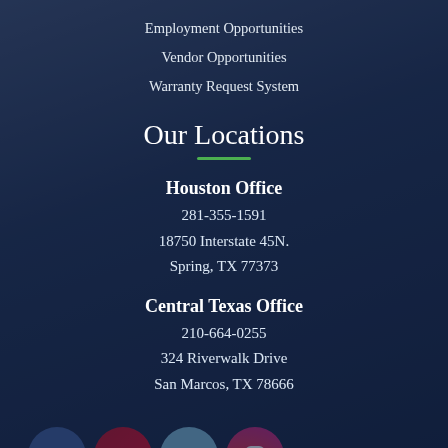Employment Opportunities
Vendor Opportunities
Warranty Request System
Our Locations
Houston Office
281-355-1591
18750 Interstate 45N.
Spring, TX 77373
Central Texas Office
210-664-0255
324 Riverwalk Drive
San Marcos, TX 78666
[Figure (infographic): Social media icons: Facebook, Pinterest, LinkedIn, Instagram]